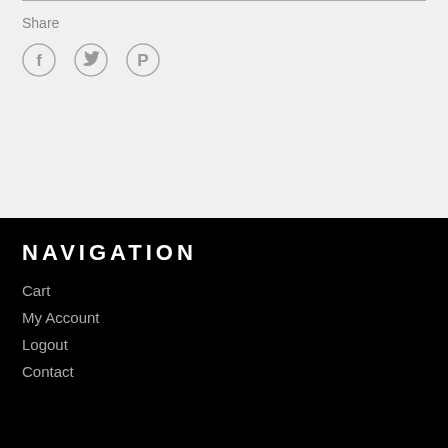Share
[Figure (other): Social media share icons: Facebook, Twitter, Pinterest]
NAVIGATION
Cart
My Account
Logout
Contact